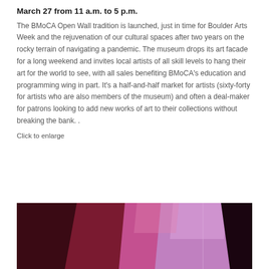March 27 from 11 a.m. to 5 p.m.
The BMoCA Open Wall tradition is launched, just in time for Boulder Arts Week and the rejuvenation of our cultural spaces after two years on the rocky terrain of navigating a pandemic. The museum drops its art facade for a long weekend and invites local artists of all skill levels to hang their art for the world to see, with all sales benefiting BMoCA's education and programming wing in part. It's a half-and-half market for artists (sixty-forty for artists who are also members of the museum) and often a deal-maker for patrons looking to add new works of art to their collections without breaking the bank. .
Click to enlarge
[Figure (photo): Abstract photograph of folded geometric shapes in pink, purple, and dark red/maroon tones against a black background.]